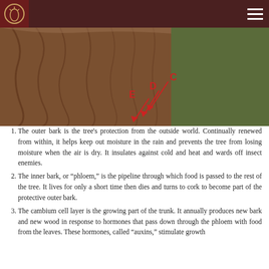[Figure (photo): Cross-section of a tree trunk with labels C, D, E pointing to different bark layers using red arrows. The trunk shows concentric rings of wood and bark layers.]
The outer bark is the tree's protection from the outside world. Continually renewed from within, it helps keep out moisture in the rain and prevents the tree from losing moisture when the air is dry. It insulates against cold and heat and wards off insect enemies.
The inner bark, or “phloem,” is the pipeline through which food is passed to the rest of the tree. It lives for only a short time then dies and turns to cork to become part of the protective outer bark.
The cambium cell layer is the growing part of the trunk. It annually produces new bark and new wood in response to hormones that pass down through the phloem with food from the leaves. These hormones, called “auxins,” stimulate growth